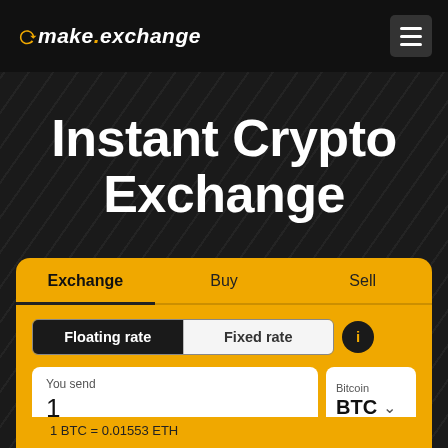[Figure (logo): make.exchange logo with circular arrows icon and stylized italic text on dark header bar]
Instant Crypto Exchange
With leading exchange rates in the industry
[Figure (screenshot): Crypto exchange widget with Exchange/Buy/Sell tabs, Floating rate / Fixed rate toggle, You send field showing 1, Bitcoin BTC currency selector, and 1 BTC = 0.01553 ETH rate displayed at bottom]